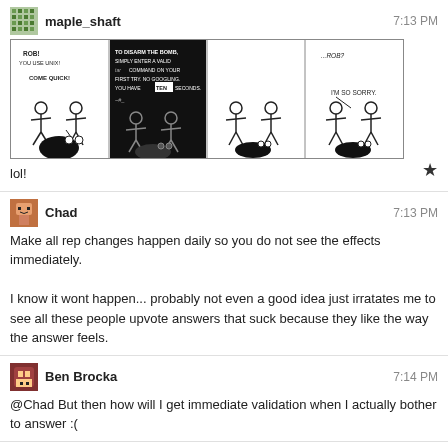[Figure (illustration): Comic strip with 4 panels showing stick figures and a bomb. Panel 1: 'ROB! YOU USE UNIX! COME QUICK!' Panel 2: 'TO DISARM THE BOMB, SIMPLY ENTER A VALID tar COMMAND ON YOUR FIRST TRY. NO GOOGLING. YOU HAVE TEN SECONDS. ~#_' Panel 3: Silent panel with figures. Panel 4: '...ROB? I'M SO SORRY.']
lol!
Chad  7:13 PM
Make all rep changes happen daily so you do not see the effects immediately.
I know it wont happen... probably not even a good idea just irratates me to see all these people upvote answers that suck because they like the way the answer feels.
Ben Brocka  7:14 PM
@Chad But then how will I get immediate validation when I actually bother to answer :(
Adam V  7:15 PM
@BenBrocka - hourly recalc then?
Chad  7:15 PM
@BenBrocka You can still see the up votes just wont know how much rep you get till the next day
I like the way this feels costs you 1 rep :p
Adam V  7:16 PM